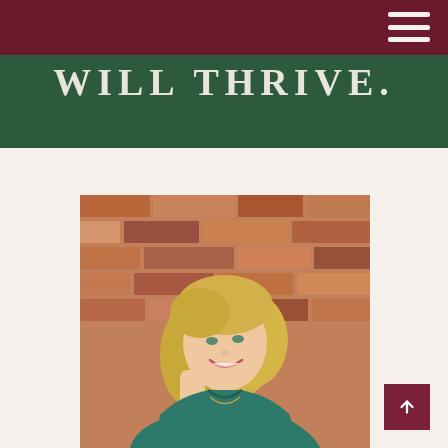WILL THRIVE.
[Figure (photo): A smiling middle-aged woman with blonde hair wearing a teal/dark green top, sitting casually in front of a red brick wall, resting her chin on her hand and looking upward with a warm smile.]